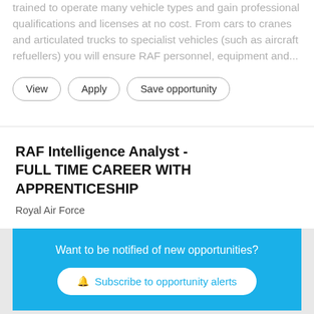trained to operate many vehicle types and gain professional qualifications and licenses at no cost. From cars to cranes and articulated trucks to specialist vehicles (such as aircraft refuellers) you will ensure RAF personnel, equipment and...
View | Apply | Save opportunity
RAF Intelligence Analyst - FULL TIME CAREER WITH APPRENTICESHIP
Royal Air Force
Want to be notified of new opportunities?
Subscribe to opportunity alerts